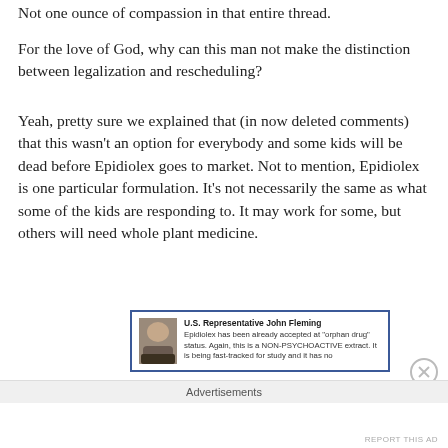Not one ounce of compassion in that entire thread.
For the love of God, why can this man not make the distinction between legalization and rescheduling?
Yeah, pretty sure we explained that (in now deleted comments) that this wasn't an option for everybody and some kids will be dead before Epidiolex goes to market. Not to mention, Epidiolex is one particular formulation. It’s not necessarily the same as what some of the kids are responding to. It may work for some, but others will need whole plant medicine.
[Figure (screenshot): Embedded Facebook post from U.S. Representative John Fleming: 'Epidiolex has been already accepted at "orphan drug" status. Again, this is a NON-PSYCHOACTIVE extract. It is being fast-tracked for study and it has no']
Advertisements
REPORT THIS AD